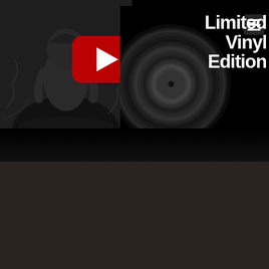[Figure (screenshot): YouTube embedded video thumbnail showing album cover of VS. LIFE by The Very End (hooded figure in dark forest) overlaid with YouTube play button, alongside vinyl record disc and text 'Limited Vinyl Edition' in white bold font on black background, with hamburger menu icon top right]
More about that topic
News: The Very End's debut album VS. LIFE will be released on vinyl
Live photo by Thomas Wilsdorf | http://image-of-you.de/